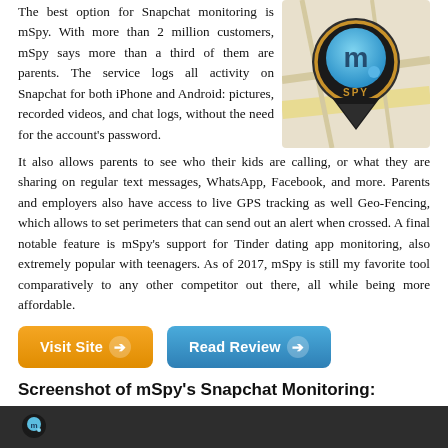The best option for Snapchat monitoring is mSpy. With more than 2 million customers, mSpy says more than a third of them are parents. The service logs all activity on Snapchat for both iPhone and Android: pictures, recorded videos, and chat logs, without the need for the account's password. It also allows parents to see who their kids are calling, or what they are sharing on regular text messages, WhatsApp, Facebook, and more. Parents and employers also have access to live GPS tracking as well Geo-Fencing, which allows to set perimeters that can send out an alert when crossed. A final notable feature is mSpy's support for Tinder dating app monitoring, also extremely popular with teenagers. As of 2017, mSpy is still my favorite tool comparatively to any other competitor out there, all while being more affordable.
[Figure (logo): mSpy app logo — blue location pin with stylized 'm' letter, gold ring, on a map background]
[Figure (other): Orange 'Visit Site' button with right arrow icon]
[Figure (other): Blue 'Read Review' button with right arrow icon]
Screenshot of mSpy's Snapchat Monitoring:
[Figure (screenshot): Dark gray/charcoal bar showing the beginning of a screenshot of mSpy's Snapchat monitoring interface, with small mSpy logo on left]